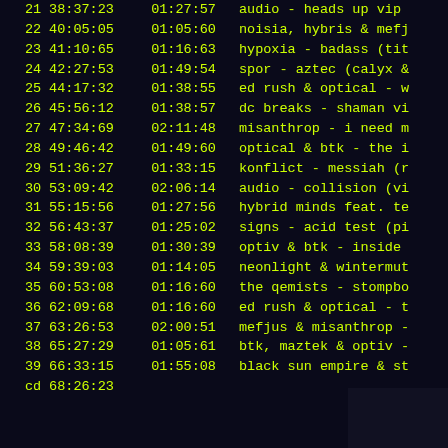| # | start | duration | title |
| --- | --- | --- | --- |
| 21 | 38:37:23 | 01:27:57 | audio - heads up vip |
| 22 | 40:05:05 | 01:05:60 | noisia, hybris & mefj |
| 23 | 41:10:65 | 01:16:63 | hypoxia - badass (tit |
| 24 | 42:27:53 | 01:49:54 | spor - aztec (calyx & |
| 25 | 44:17:32 | 01:38:55 | ed rush & optical - w |
| 26 | 45:56:12 | 01:38:57 | dc breaks - shaman vi |
| 27 | 47:34:69 | 02:11:48 | misanthrop - i need m |
| 28 | 49:46:42 | 01:49:60 | optical & btk - the i |
| 29 | 51:36:27 | 01:33:15 | konflict - messiah (r |
| 30 | 53:09:42 | 02:06:14 | audio - collision (vi |
| 31 | 55:15:56 | 01:27:56 | hybrid minds feat. te |
| 32 | 56:43:37 | 01:25:02 | signs - acid test (pi |
| 33 | 58:08:39 | 01:30:39 | optiv & btk - inside |
| 34 | 59:39:03 | 01:14:05 | neonlight & wintermut |
| 35 | 60:53:08 | 01:16:60 | the qemists - stompbo |
| 36 | 62:09:68 | 01:16:60 | ed rush & optical - t |
| 37 | 63:26:53 | 02:00:51 | mefjus & misanthrop - |
| 38 | 65:27:29 | 01:05:61 | btk, maztek & optiv - |
| 39 | 66:33:15 | 01:55:08 | black sun empire & st |
| cd | 68:26:23 |  |  |